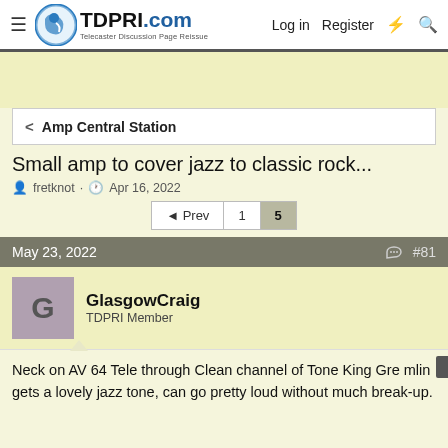TDPRI.com — Telecaster Discussion Page Reissue | Log in | Register
Amp Central Station
Small amp to cover jazz to classic rock...
fretknot · Apr 16, 2022
◄ Prev  1  5
May 23, 2022  #81
GlasgowCraig
TDPRI Member
Neck on AV 64 Tele through Clean channel of Tone King Gremlin gets a lovely jazz tone, can go pretty loud without much break-up.